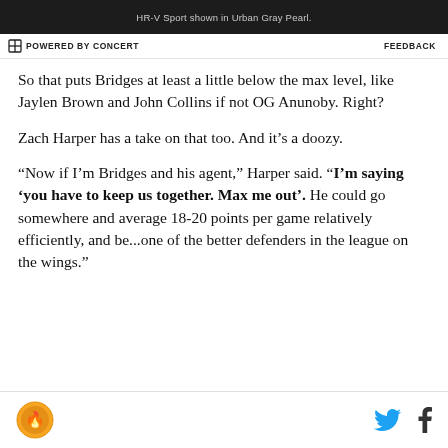[Figure (other): Advertisement bar with text 'HR-V Sport shown in Urban Gray Pearl.']
POWERED BY CONCERT    FEEDBACK
So that puts Bridges at least a little below the max level, like Jaylen Brown and John Collins if not OG Anunoby. Right?
Zach Harper has a take on that too. And it’s a doozy.
“Now if I’m Bridges and his agent,” Harper said. “I’m saying ‘you have to keep us together. Max me out’. He could go somewhere and average 18-20 points per game relatively efficiently, and be...one of the better defenders in the league on the wings.”
SB Nation logo, Twitter icon, Facebook icon